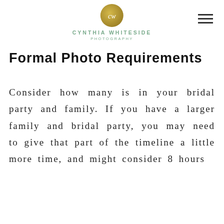CYNTHIA WHITESIDE PHOTOGRAPHY
Formal Photo Requirements
Consider how many is in your bridal party and family. If you have a larger family and bridal party, you may need to give that part of the timeline a little more time, and might consider 8 hours